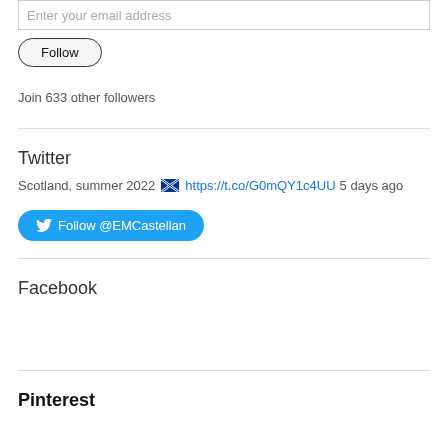Enter your email address
Follow
Join 633 other followers
Twitter
Scotland, summer 2022 🏴󠁧󠁢󠁳󠁣󠁴󠁿 https://t.co/G0mQY1c4UU 5 days ago
Follow @EMCastellan
Facebook
Pinterest